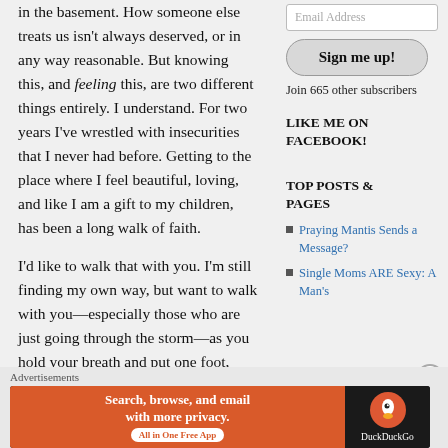in the basement. How someone else treats us isn't always deserved, or in any way reasonable. But knowing this, and feeling this, are two different things entirely. I understand. For two years I've wrestled with insecurities that I never had before. Getting to the place where I feel beautiful, loving, and like I am a gift to my children, has been a long walk of faith.
I'd like to walk that with you. I'm still finding my own way, but want to walk with you—especially those who are just going through the storm—as you hold your breath and put one foot, (metaphorically) in front of the other.
Email Address
Sign me up!
Join 665 other subscribers
LIKE ME ON FACEBOOK!
TOP POSTS & PAGES
Praying Mantis Sends a Message?
Single Moms ARE Sexy: A Man's
Advertisements
[Figure (screenshot): DuckDuckGo advertisement banner: 'Search, browse, and email with more privacy. All in One Free App' on orange background with DuckDuckGo logo on dark background.]